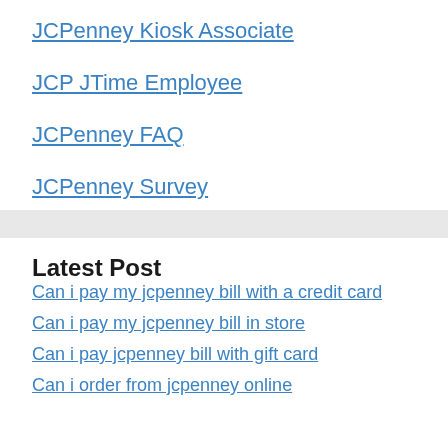JCPenney Kiosk Associate
JCP JTime Employee
JCPenney FAQ
JCPenney Survey
Latest Post
Can i pay my jcpenney bill with a credit card
Can i pay my jcpenney bill in store
Can i pay jcpenney bill with gift card
Can i order from jcpenney online